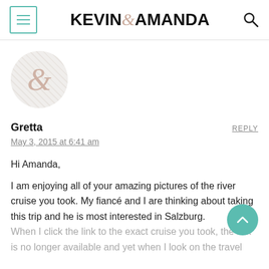KEVIN & AMANDA
[Figure (logo): Kevin & Amanda blog logo with ampersand symbol in a striped circle]
Gretta
REPLY
May 3, 2015 at 6:41 am
Hi Amanda,

I am enjoying all of your amazing pictures of the river cruise you took. My fiancé and I are thinking about taking this trip and he is most interested in Salzburg. When I click the link to the exact cruise you took, the link is no longer available and yet when I look on the travel